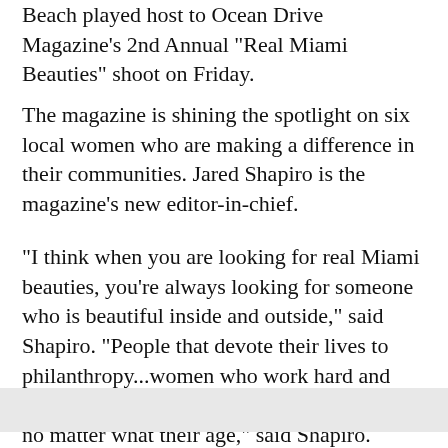Beach played host to Ocean Drive Magazine's 2nd Annual "Real Miami Beauties" shoot on Friday.
The magazine is shining the spotlight on six local women who are making a difference in their communities. Jared Shapiro is the magazine's new editor-in-chief.
"I think when you are looking for real Miami beauties, you're always looking for someone who is beautiful inside and outside," said Shapiro. "People that devote their lives to philanthropy...women who work hard and have creative ideas...beautiful on the outside, no matter what their age," said Shapiro.
Michelle Sh... Posner is a 37-year-old artist who...